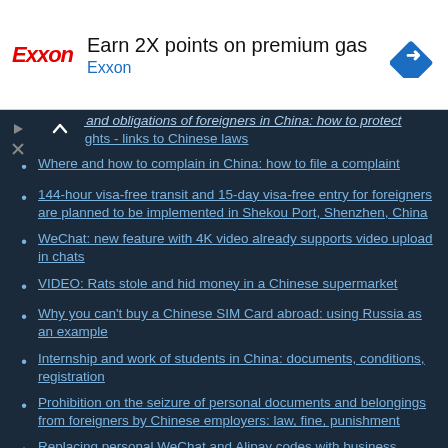[Figure (other): Exxon advertisement banner: logo in red italic 'Exxon', headline 'Earn 2X points on premium gas', subtext 'Exxon' in blue, blue diamond navigation icon on right]
rights and obligations of foreigners in China: how to protect our rights - links to Chinese laws
Where and how to complain in China: how to file a complaint
144-hour visa-free transit and 15-day visa-free entry for foreigners are planned to be implemented in Shekou Port, Shenzhen, China
WeChat: new feature with 4K video already supports video upload in chats
VIDEO: Rats stole and hid money in a Chinese supermarket
Why you can't buy a Chinese SIM Card abroad: using Russia as an example
Internship and work of students in China: documents, conditions, registration
Prohibition on the seizure of personal documents and belongings from foreigners by Chinese employers: law, fine, punishment
Replacing personal WeChat and Alipay codes with business collection codes from March 1, 2022
Will be strengthened control of private medical clinics in the